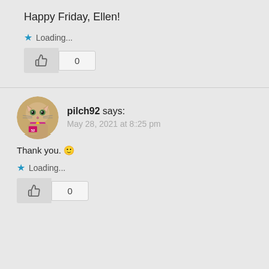Happy Friday, Ellen!
Loading...
0
pilch92 says:
May 28, 2021 at 8:25 pm
[Figure (illustration): Avatar image of a cartoon cat with pink decorative elements]
Thank you. 🙂
Loading...
0